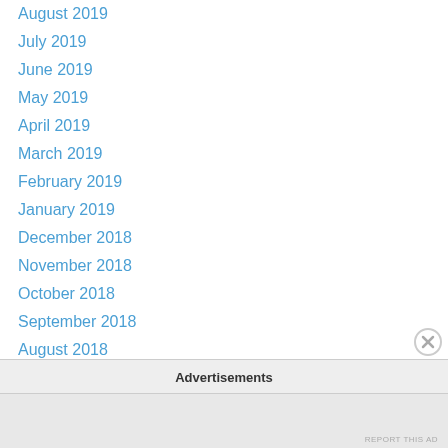August 2019
July 2019
June 2019
May 2019
April 2019
March 2019
February 2019
January 2019
December 2018
November 2018
October 2018
September 2018
August 2018
July 2018
June 2018
May 2018
April 2018
Advertisements
REPORT THIS AD